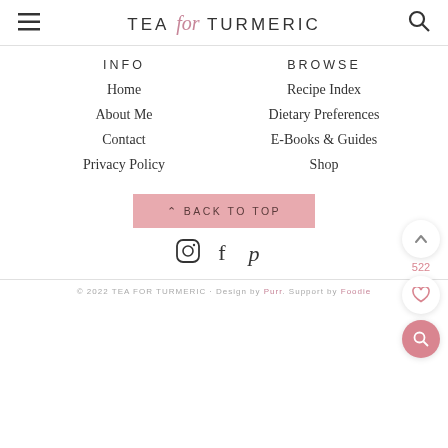TEA for TURMERIC
INFO
Home
About Me
Contact
Privacy Policy
BROWSE
Recipe Index
Dietary Preferences
E-Books & Guides
Shop
⌃ BACK TO TOP
[Figure (infographic): Social media icons: Instagram, Facebook, Pinterest]
© 2022 TEA FOR TURMERIC · Design by Purr. Support by Foodie